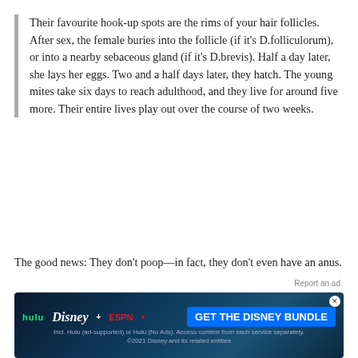Their favourite hook-up spots are the rims of your hair follicles. After sex, the female buries into the follicle (if it's D.folliculorum), or into a nearby sebaceous gland (if it's D.brevis). Half a day later, she lays her eggs. Two and a half days later, they hatch. The young mites take six days to reach adulthood, and they live for around five more. Their entire lives play out over the course of two weeks.
The good news: They don't poop—in fact, they don't even have an anus.
The bad news again: All that waste just builds up in their bodies. Demodex are, by nature, chronically constipated. Only after they die, and their bodies
[Figure (screenshot): Disney Bundle advertisement banner with Hulu, Disney+, and ESPN+ logos and a blue GET THE DISNEY BUNDLE call-to-action button]